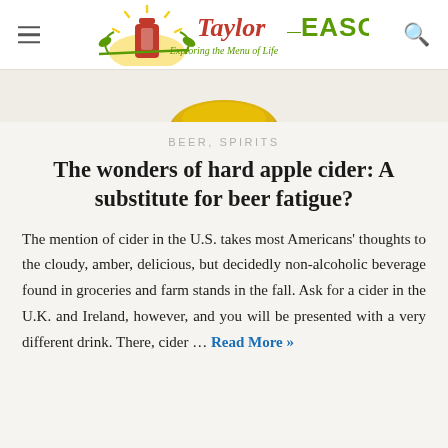[Figure (logo): Taylor-EASON blog logo with wine bottle illustration and tagline 'Exploring the Menu of Life']
[Figure (photo): Partial view of a gold/amber colored bowl or cup from above, cropped at top edge]
BEER, SPIRITS
The wonders of hard apple cider: A substitute for beer fatigue?
The mention of cider in the U.S. takes most Americans' thoughts to the cloudy, amber, delicious, but decidedly non-alcoholic beverage found in groceries and farm stands in the fall. Ask for a cider in the U.K. and Ireland, however, and you will be presented with a very different drink. There, cider … Read More »